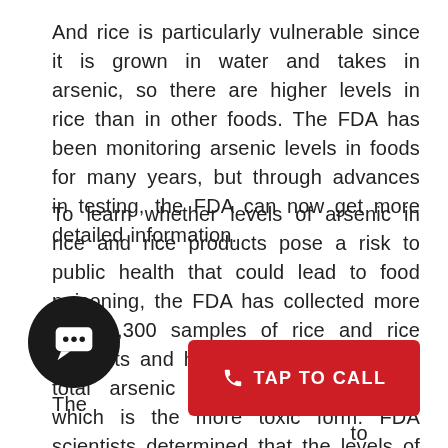And rice is particularly vulnerable since it is grown in water and takes in arsenic, so there are higher levels in rice than in other foods. The FDA has been monitoring arsenic levels in foods for many years, but through advances in testing, the FDA can now get more detailed information.
To learn whether levels of arsenic in rice and rice products pose a risk to public health that could lead to food poisoning, the FDA has collected more than 1,300 samples of rice and rice products and has tested them for both total arsenic and inorganic arsenic, which is the more toxic form. FDA scientists determined that the levels of inorganic arsenic in the samples are too low to cause immediate health risks.
The next step is to analyze the risk, and determine how to minimize